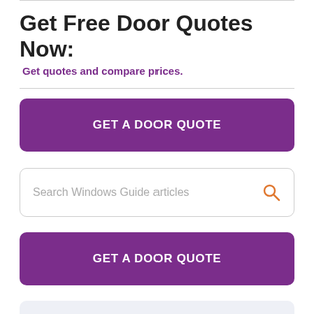Get Free Door Quotes Now:
Get quotes and compare prices.
GET A DOOR QUOTE
Search Windows Guide articles
GET A DOOR QUOTE
Explore door styles